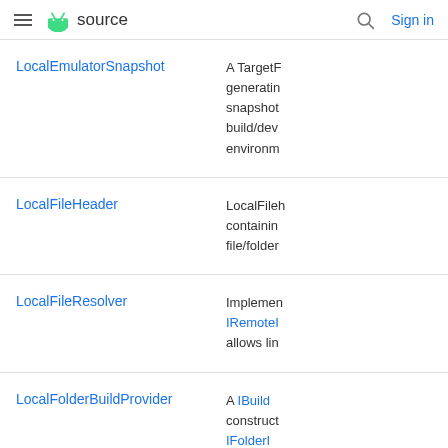≡ android source  🔍 Sign in
| Class | Description |
| --- | --- |
| LocalEmulatorSnapshot | A TargetF… generating snapshot build/dev environm… |
| LocalFileHeader | LocalFileh… containing file/folder… |
| LocalFileResolver | Implemen IRemoteI… allows lin… |
| LocalFolderBuildProvider | A IBuild… construct IFolderI… a provider… |